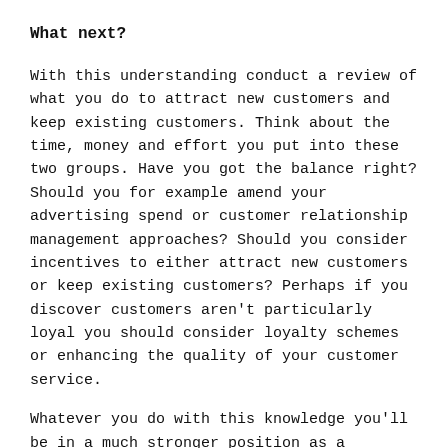What next?
With this understanding conduct a review of what you do to attract new customers and keep existing customers. Think about the time, money and effort you put into these two groups. Have you got the balance right? Should you for example amend your advertising spend or customer relationship management approaches? Should you consider incentives to either attract new customers or keep existing customers? Perhaps if you discover customers aren't particularly loyal you should consider loyalty schemes or enhancing the quality of your customer service.
Whatever you do with this knowledge you'll be in a much stronger position as a business to maximise the benefits from both groups and drive your business forward.